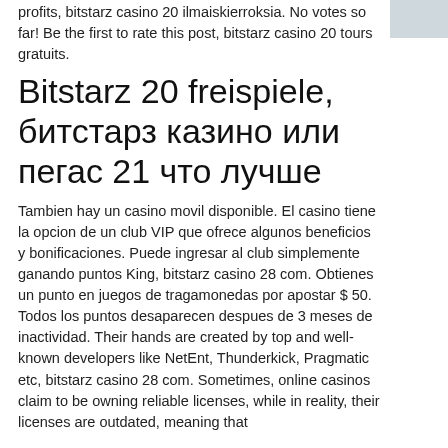profits, bitstarz casino 20 ilmaiskierroksia. No votes so far! Be the first to rate this post, bitstarz casino 20 tours gratuits.
Bitstarz 20 freispiele, битстарз казино или пегас 21 что лучше
Tambien hay un casino movil disponible. El casino tiene la opcion de un club VIP que ofrece algunos beneficios y bonificaciones. Puede ingresar al club simplemente ganando puntos King, bitstarz casino 28 com. Obtienes un punto en juegos de tragamonedas por apostar $ 50. Todos los puntos desaparecen despues de 3 meses de inactividad. Their hands are created by top and well-known developers like NetEnt, Thunderkick, Pragmatic etc, bitstarz casino 28 com. Sometimes, online casinos claim to be owning reliable licenses, while in reality, their licenses are outdated, meaning that